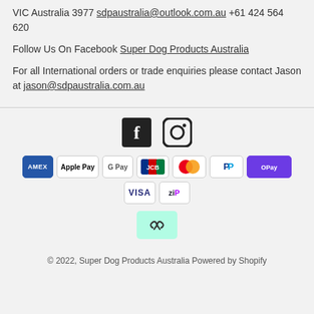VIC Australia 3977 sdpaustralia@outlook.com.au +61 424 564 620
Follow Us On Facebook Super Dog Products Australia
For all International orders or trade enquiries please contact Jason at jason@sdpaustralia.com.au
[Figure (infographic): Social media icons for Facebook and Instagram, followed by payment method icons: Amex, Apple Pay, Google Pay, JCB, Mastercard, PayPal, OPay, Visa, Zip, and an Afterpay badge.]
© 2022, Super Dog Products Australia Powered by Shopify